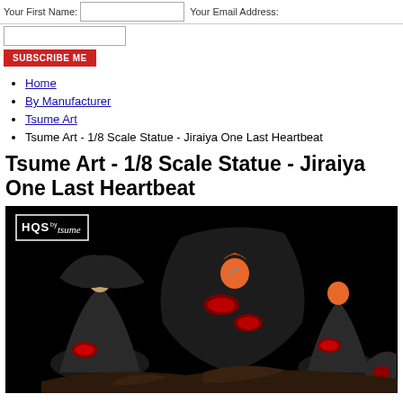Your First Name: [input] Your Email Address:
[Last Name input]
SUBSCRIBE ME
Home
By Manufacturer
Tsume Art
Tsume Art - 1/8 Scale Statue - Jiraiya One Last Heartbeat
Tsume Art - 1/8 Scale Statue - Jiraiya One Last Heartbeat
[Figure (photo): Product photo of Tsume Art HQS by Tsume 1/8 Scale Statue - Jiraiya One Last Heartbeat, showing Naruto Akatsuki figures on a black background with the HQS by tsume logo in the top left corner.]